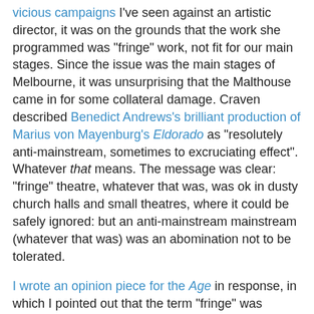vicious campaigns I've seen against an artistic director, it was on the grounds that the work she programmed was "fringe" work, not fit for our main stages. Since the issue was the main stages of Melbourne, it was unsurprising that the Malthouse came in for some collateral damage. Craven described Benedict Andrews's brilliant production of Marius von Mayenburg's Eldorado as "resolutely anti-mainstream, sometimes to excruciating effect". Whatever that means. The message was clear: "fringe" theatre, whatever that was, was ok in dusty church halls and small theatres, where it could be safely ignored: but an anti-mainstream mainstream (whatever that was) was an abomination not to be tolerated.
I wrote an opinion piece for the Age in response, in which I pointed out that the term "fringe" was meaningless, and that the fringe/mainstream dichotomy was almost entirely false. And there it might have rested, as a minor flurry in the press that passed without disturbing the status quo. This is certainly how it always worked in the past; theatrical energies have, again and again, been successfully marginalised by attacking and, at the last, ignoring them. Once a show closes, the only place it exists is in the memory